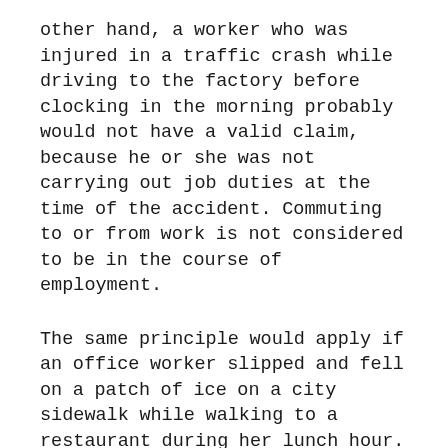other hand, a worker who was injured in a traffic crash while driving to the factory before clocking in the morning probably would not have a valid claim, because he or she was not carrying out job duties at the time of the accident. Commuting to or from work is not considered to be in the course of employment.
The same principle would apply if an office worker slipped and fell on a patch of ice on a city sidewalk while walking to a restaurant during her lunch hour. However, if she was injured when returning to the office after running an errand that was requested by her employer, her injuries are likely to be covered by workers' comp. As a rule of thumb, if an